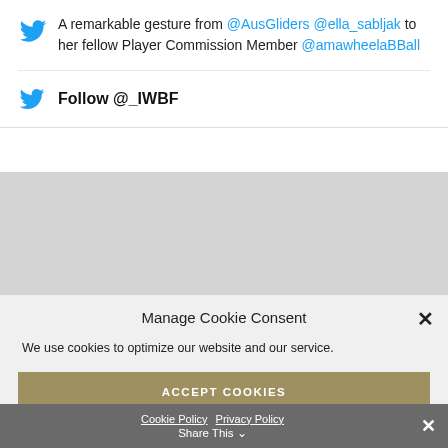A remarkable gesture from @AusGliders @ella_sabljak to her fellow Player Commission Member @amawheelaBBall
Follow @_IWBF
Manage Cookie Consent
We use cookies to optimize our website and our service.
ACCEPT COOKIES
DENY
VIEW PREFERENCES
Cookie Policy  Privacy Policy  Share This ×